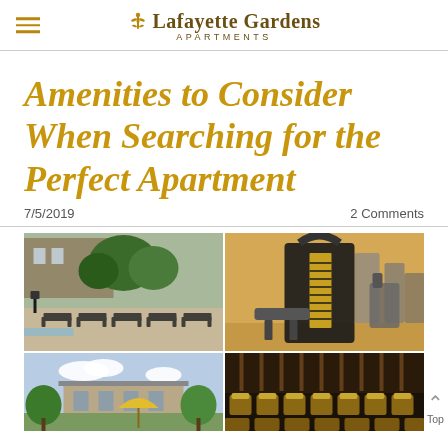Lafayette Gardens APARTMENTS
Amenities to Consider When Searching for the Perfect Apartment
7/5/2019    2 Comments
[Figure (photo): Four photos in a 2x2 grid: top-left shows lounge chairs by a pool area; top-right shows gym/fitness equipment; bottom-left shows apartment exterior with trees; bottom-right shows a home theater/screening room with leather seats.]